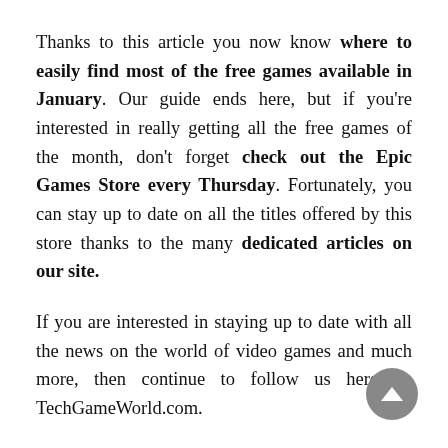Thanks to this article you now know where to easily find most of the free games available in January. Our guide ends here, but if you're interested in really getting all the free games of the month, don't forget check out the Epic Games Store every Thursday. Fortunately, you can stay up to date on all the titles offered by this store thanks to the many dedicated articles on our site.
If you are interested in staying up to date with all the news on the world of video games and much more, then continue to follow us here on TechGameWorld.com.